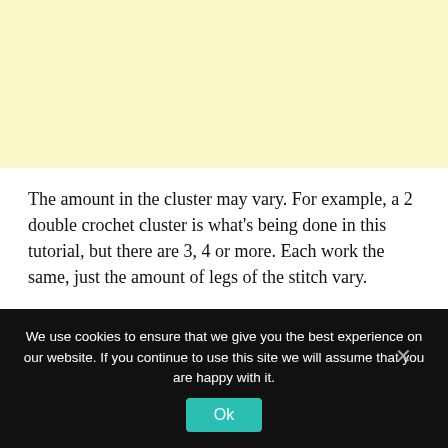[Figure (other): Light yellow advertisement banner placeholder area]
The amount in the cluster may vary. For example, a 2 double crochet cluster is what's being done in this tutorial, but there are 3, 4 or more. Each work the same, just the amount of legs of the stitch vary.
We use cookies to ensure that we give you the best experience on our website. If you continue to use this site we will assume that you are happy with it.
Ok